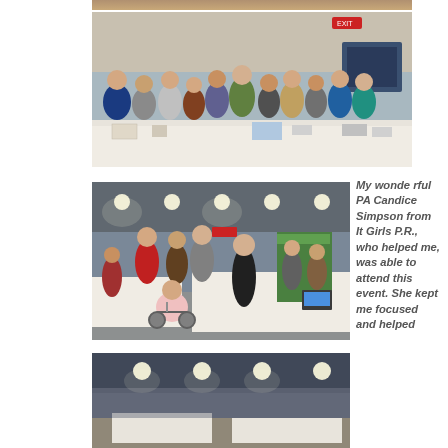[Figure (photo): Group photo of people in costumes standing behind a table with white tablecloth in an indoor venue]
[Figure (photo): Indoor event venue with crowds of people walking around tables and booths]
My wonderful PA Candice Simpson from It Girls P.R., who helped me, was able to attend this event. She kept me focused and helped
[Figure (photo): Indoor venue with overhead lights, partial view of event space]